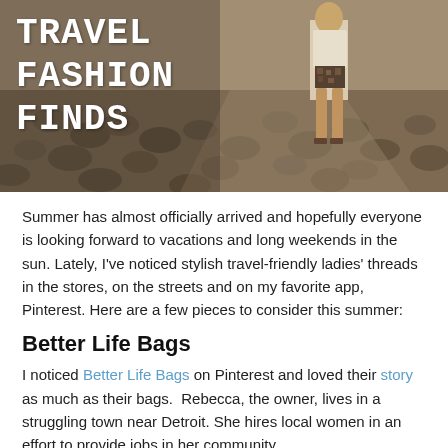[Figure (photo): Hero banner image showing a woman in white top and patterned shorts walking on a cobblestone street, with text overlay reading TRAVEL FASHION FINDS in monospace font]
TRAVEL
FASHION
FINDS
Summer has almost officially arrived and hopefully everyone is looking forward to vacations and long weekends in the sun. Lately, I've noticed stylish travel-friendly ladies' threads in the stores, on the streets and on my favorite app, Pinterest. Here are a few pieces to consider this summer:
Better Life Bags
I noticed Better Life Bags on Pinterest and loved their story as much as their bags.  Rebecca, the owner, lives in a struggling town near Detroit. She hires local women in an effort to provide jobs in her community.